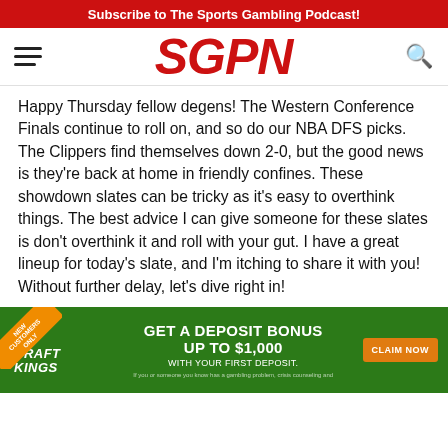Subscribe to The Sports Gambling Podcast!
[Figure (logo): SGPN logo in bold red italic text with hamburger menu icon on left and search icon on right]
Happy Thursday fellow degens! The Western Conference Finals continue to roll on, and so do our NBA DFS picks. The Clippers find themselves down 2-0, but the good news is they're back at home in friendly confines. These showdown slates can be tricky as it's easy to overthink things. The best advice I can give someone for these slates is don't overthink it and roll with your gut. I have a great lineup for today's slate, and I'm itching to share it with you! Without further delay, let's dive right in!
[Figure (infographic): DraftKings advertisement banner on green background: GET A DEPOSIT BONUS UP TO $1,000 WITH YOUR FIRST DEPOSIT. CLAIM NOW button on right. DraftKings logo on left with crown symbol. Orange ribbon in top-left corner reading NEW CUSTOMERS ONLY.]